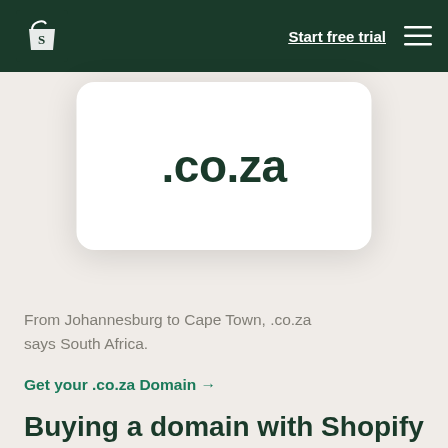Start free trial
[Figure (illustration): White rounded card displaying '.co.za' domain extension text in large dark green bold font on a light gray background]
From Johannesburg to Cape Town, .co.za says South Africa.
Get your .co.za Domain →
Buying a domain with Shopify is simple and straightforward. No